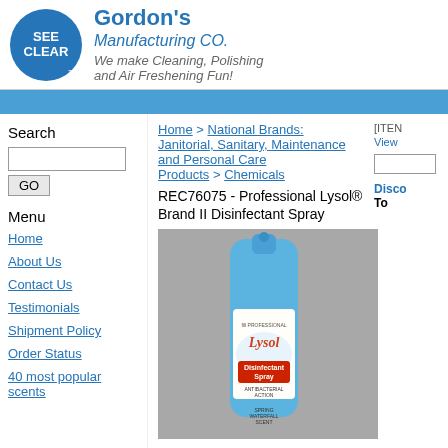[Figure (logo): Gordon's Manufacturing CO. logo with 'SEE CLEAR' circular blue badge and company name]
Home > National Brands: Janitorial, Sanitary, Maintenance and Personal Care Products > Chemicals
REC76075 - Professional Lysol® Brand II Disinfectant Spray
Search
Menu
Home
About Us
Contact Us
Testimonials
Shipment Policy
Order Status
40 most popular scents
[Figure (photo): Lysol Professional Brand II Disinfectant Spray can — Spring Waterfall scent, blue aerosol can with Antibacterial Action label]